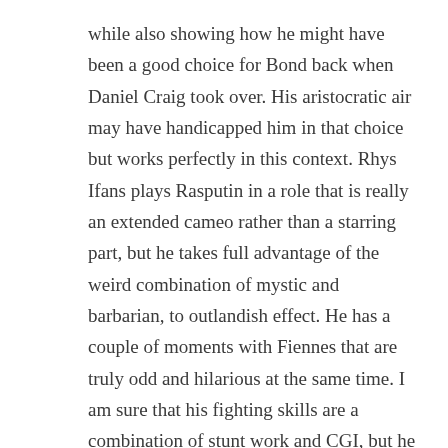while also showing how he might have been a good choice for Bond back when Daniel Craig took over. His aristocratic air may have handicapped him in that choice but works perfectly in this context. Rhys Ifans plays Rasputin in a role that is really an extended cameo rather than a starring part, but he takes full advantage of the weird combination of mystic and barbarian, to outlandish effect. He has a couple of moments with Fiennes that are truly odd and hilarious at the same time. I am sure that his fighting skills are a combination of stunt work and CGI, but he nevertheless is the face of the character and one of the memorable things about the film. Daniel Brühl appears in a standard villain role as a parallel to Rasputin only in Germany. He is poised to come back if ever there is a continuation of the story as suggested